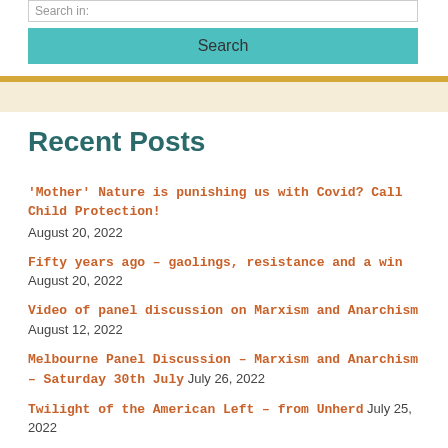Search in:
Search
Recent Posts
'Mother' Nature is punishing us with Covid? Call Child Protection! August 20, 2022
Fifty years ago – gaolings, resistance and a win August 20, 2022
Video of panel discussion on Marxism and Anarchism August 12, 2022
Melbourne Panel Discussion – Marxism and Anarchism – Saturday 30th July July 26, 2022
Twilight of the American Left – from Unherd July 25, 2022
"Radicals" Book Launch 6pm Thursday 9 June June 6, 2022
NO FLY ZONE! Solidarity with Ukraine! March 11, 2022
Fighting the Tsar of All the Russias February 28, 2022